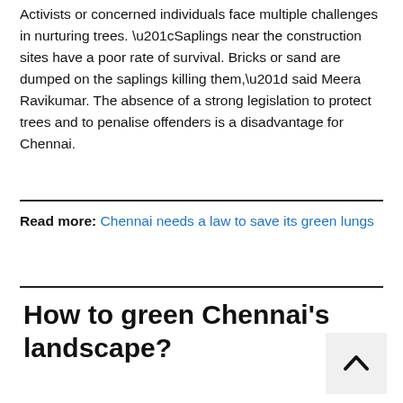Activists or concerned individuals face multiple challenges in nurturing trees. “Saplings near the construction sites have a poor rate of survival. Bricks or sand are dumped on the saplings killing them,” said Meera Ravikumar. The absence of a strong legislation to protect trees and to penalise offenders is a disadvantage for Chennai.
Read more: Chennai needs a law to save its green lungs
How to green Chennai’s landscape?